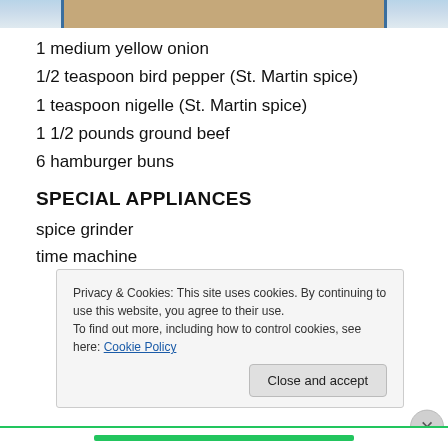[Figure (photo): Partial photo of a plate of food, cropped at top of page]
1 medium yellow onion
1/2 teaspoon bird pepper (St. Martin spice)
1 teaspoon nigelle (St. Martin spice)
1 1/2 pounds ground beef
6 hamburger buns
SPECIAL APPLIANCES
spice grinder
time machine
Privacy & Cookies: This site uses cookies. By continuing to use this website, you agree to their use.
To find out more, including how to control cookies, see here: Cookie Policy